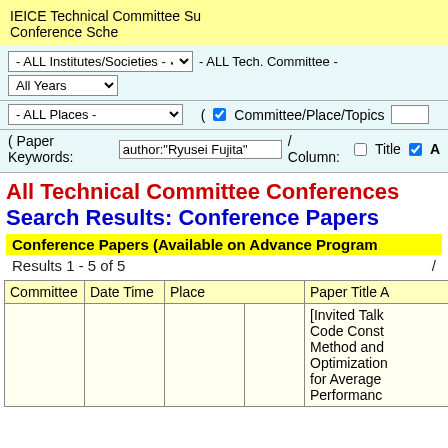IEICE Technical Committee Su Conference Sche
- ALL Institutes/Societies -  - ALL Tech. Committee -  All Years
- ALL Places -  ( Committee/Place/Topics
( Paper Keywords: author:"Ryusei Fujita"  /  Column: Title  A
All Technical Committee Conferences
Search Results: Conference Papers
Conference Papers (Available on Advance Program
Results 1 - 5 of 5  /
| Committee | Date Time | Place |  | Paper Title A |
| --- | --- | --- | --- | --- |
|  |  |  |  | [Invited Talk Code Const Method and Optimization for Average Performance |